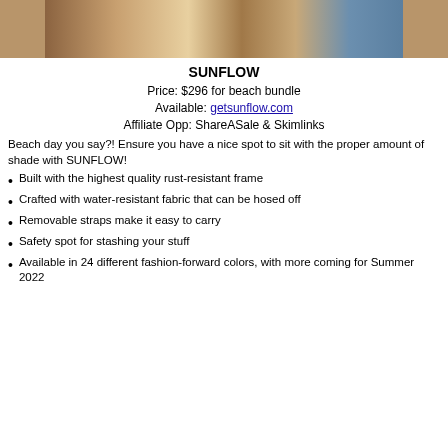[Figure (photo): Photo of a person at the beach with sand and beach equipment, cropped at top]
SUNFLOW
Price: $296 for beach bundle
Available: getsunflow.com
Affiliate Opp: ShareASale & Skimlinks
Beach day you say?! Ensure you have a nice spot to sit with the proper amount of shade with SUNFLOW!
Built with the highest quality rust-resistant frame
Crafted with water-resistant fabric that can be hosed off
Removable straps make it easy to carry
Safety spot for stashing your stuff
Available in 24 different fashion-forward colors, with more coming for Summer 2022